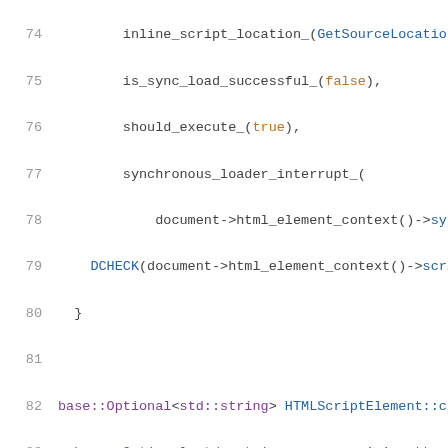[Figure (screenshot): Source code screenshot showing C++ code for HTMLScriptElement with syntax highlighting. Lines 74-95 visible. Line numbers in gray on left, code in dark with colored keywords/strings (purple for types, green for string literals, blue for function calls).]